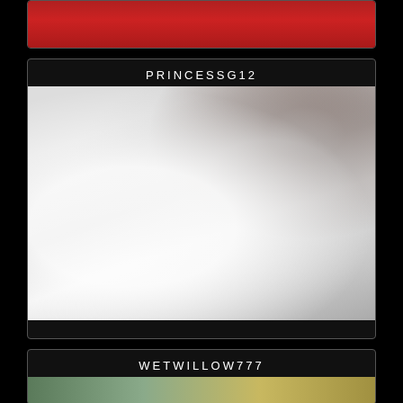[Figure (photo): Partial view of person in red top, cropped at top of page]
PRINCESSG12
[Figure (photo): Close-up photo of white waffle-textured robe or bathrobe, partially open, with a hand visible at top]
WETWILLOW777
[Figure (photo): Partial blurred image at bottom of page, teal and yellow tones]